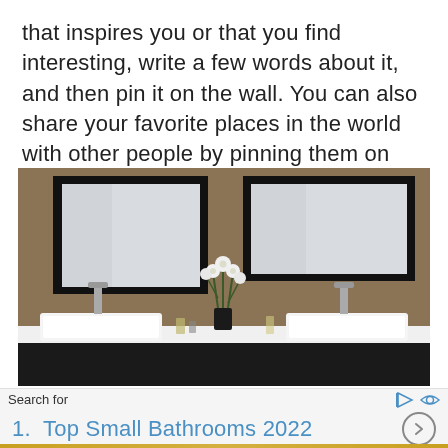that inspires you or that you find interesting, write a few words about it, and then pin it on the wall. You can also share your favorite places in the world with other people by pinning them on the map.
[Figure (photo): Modern bathroom with two white vessel sinks on a dark vanity counter, two black-framed mirrors on a taupe/brown wall, chrome faucets, a black vase with white flowers, and small decorative items between the sinks.]
Search for
1.  Top Small Bathrooms 2022